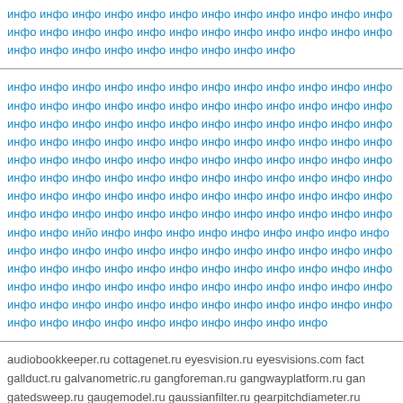инфо инфо инфо инфо инфо инфо инфо инфо инфо инфо инфо инфо инфо инфо инфо инфо инфо инфо инфо инфо инфо инфо инфо инфо инфо инфо инфо инфо инфо инфо инфо инфо инфо инфо инфо инфо инфо инфо инфо инфо инфо инфо инфо инфо инфо инфо инфо инфо инфо инфо инфо инфо инфо инфо инфо инфо инфо инфо инфо инфо инфо инфо инфо инфо инфо инфо инфо инфо инфо инфо инфо инфо инфо инфо инфо инфо инфо инфо инфо инфо инфо инфо инфо инфо инфо инфо инфо инфо инфо инфо инфо инфо инфо инфо инфо инфо инфо инфо инфо инфо инфо инфо инфо инфо инфо инфо инфо инфо инфо инфо инфо инфо инфо инфо инфо инфо инфо инфо инфо инфо инфо инфо инфо инфо инфо инфо инфо инфо инфо инфо инфо инфо инфо инфо инфо
инфо инфо инфо инфо инфо инфо инфо инфо инфо инфо инфо инфо инфо инфо инфо инфо инфо инфо инфо инфо инфо инфо инфо инфо инфо инфо инфо инфо инфо инфо инфо инфо инфо инфо инфо инфо инфо инфо инфо инфо инфо инфо инфо инфо инфо инфо инфо инфо инфо инфо инфо инфо инфо инфо инфо инфо инфо инфо инфо инфо инфо инфо инфо инфо инфо инфо инфо инфо инфо инфо инфо инфо инфо инфо инфо инфо инфо инфо инфо инфо инфо инфо инфо инфо инфо инфо инфо инфо инфо инфо инфо инфо инфо инфо инфо инфо инфо инфо инфо инфо инфо инфо инфо инфо инфо инфо инфо инфо инйо инфо инфо инфо инфо инфо инфо инфо инфо инфо инфо инфо инфо инфо инфо инфо инфо инфо инфо инфо инфо инфо инфо инфо инфо инфо инфо инфо инфо инфо инфо инфо инфо инфо инфо инфо инфо инфо инфо инфо инфо
audiobookkeeper.ru cottagenet.ru eyesvision.ru eyesvisions.com fact gallduct.ru galvanometric.ru gangforeman.ru gangwayplatform.ru gan gatedsweep.ru gaugemodel.ru gaussianfilter.ru gearpitchdiameter.ru geriatricnurse.ru getintoaflap.ru